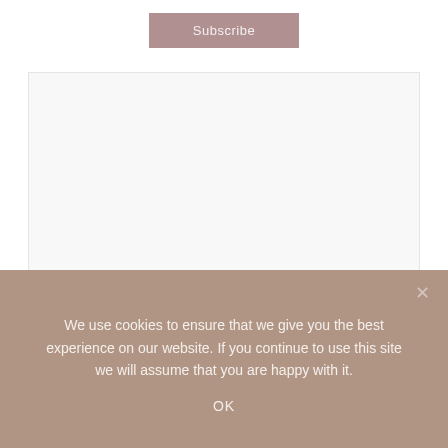[Figure (other): Subscribe button with muted rose/mauve background color]
[Figure (other): Empty white/light grey content box area]
We use cookies to ensure that we give you the best experience on our website. If you continue to use this site we will assume that you are happy with it.
OK